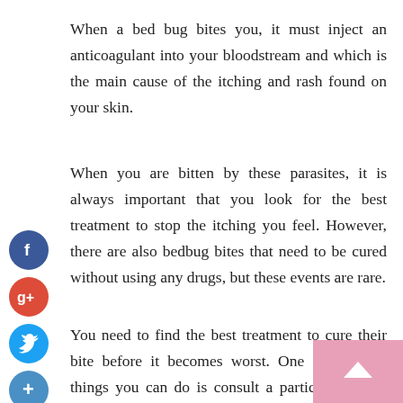When a bed bug bites you, it must inject an anticoagulant into your bloodstream and which is the main cause of the itching and rash found on your skin.
When you are bitten by these parasites, it is always important that you look for the best treatment to stop the itching you feel. However, there are also bedbug bites that need to be cured without using any drugs, but these events are rare.
You need to find the best treatment to cure their bite before it becomes worst. One of the best things you can do is consult a particular doctor who has knowledge of insect bites. You can also request the best recipe so you can use it to cure the bite of the